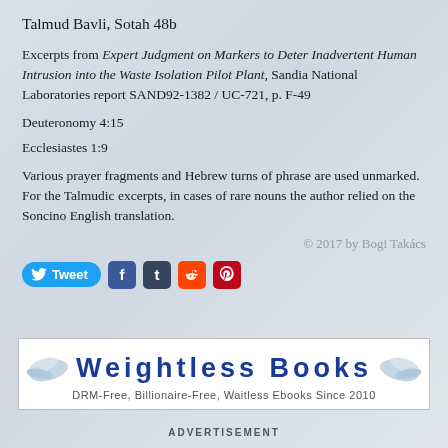Talmud Bavli, Sotah 48b
Excerpts from Expert Judgment on Markers to Deter Inadvertent Human Intrusion into the Waste Isolation Pilot Plant, Sandia National Laboratories report SAND92-1382 / UC-721, p. F-49
Deuteronomy 4:15
Ecclesiastes 1:9
Various prayer fragments and Hebrew turns of phrase are used unmarked. For the Talmudic excerpts, in cases of rare nouns the author relied on the Soncino English translation.
© 2017 by Bogi Takács
[Figure (other): Social sharing buttons: Tweet (Twitter), Facebook, Tumblr, Reddit, Pinterest]
[Figure (other): Advertisement banner for Weightless Books - DRM-Free, Billionaire-Free, Waitless Ebooks Since 2010]
ADVERTISEMENT